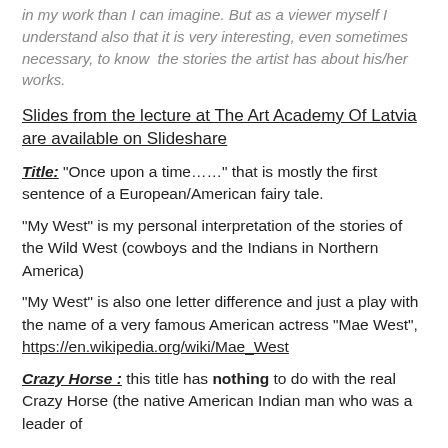in my work than I can imagine. But as a viewer myself I understand also that it is very interesting, even sometimes necessary, to know  the stories the artist has about his/her works.
Slides from the lecture at The Art Academy Of Latvia are available on Slideshare
Title: “Once upon a time……” that is mostly the first sentence of a European/American fairy tale.
“My West” is my personal interpretation of the stories of the Wild West (cowboys and the Indians in Northern America)
“My West” is also one letter difference and just a play with the name of a very famous American actress “Mae West”, https://en.wikipedia.org/wiki/Mae_West
Crazy Horse : this title has nothing to do with the real Crazy Horse (the native American Indian man who was a leader of